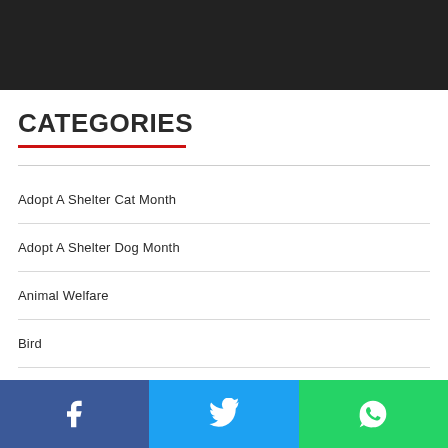[Figure (other): Dark/black banner image at top of page]
CATEGORIES
Adopt A Shelter Cat Month
Adopt A Shelter Dog Month
Animal Welfare
Bird
Bird Health Issues
Birds Care
[Figure (other): Social media sharing bar with Facebook, Twitter, and WhatsApp buttons]